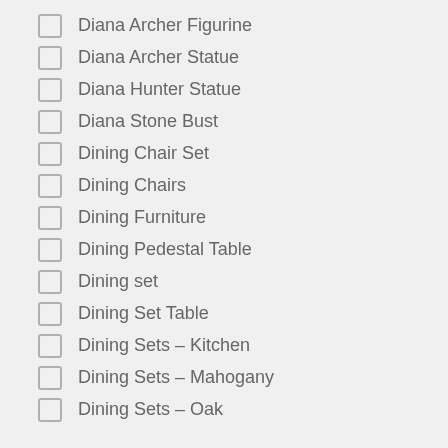Diana Archer Figurine
Diana Archer Statue
Diana Hunter Statue
Diana Stone Bust
Dining Chair Set
Dining Chairs
Dining Furniture
Dining Pedestal Table
Dining set
Dining Set Table
Dining Sets – Kitchen
Dining Sets – Mahogany
Dining Sets – Oak